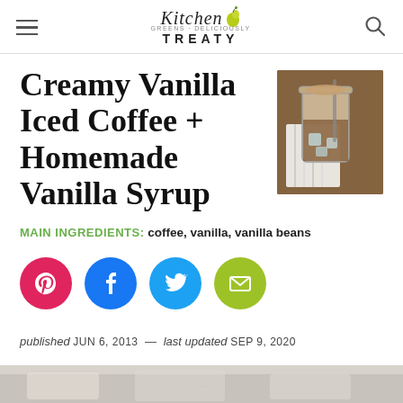Kitchen Treaty (logo header with hamburger menu and search icon)
Creamy Vanilla Iced Coffee + Homemade Vanilla Syrup
[Figure (photo): Overhead photo of a glass jar of iced coffee with a straw on a wooden surface]
MAIN INGREDIENTS: coffee, vanilla, vanilla beans
[Figure (infographic): Social sharing buttons: Pinterest (pink), Facebook (blue), Twitter (teal), Email (green)]
published JUN 6, 2013 — last updated SEP 9, 2020
[Figure (photo): Bottom strip showing top of a food/ingredient photo]